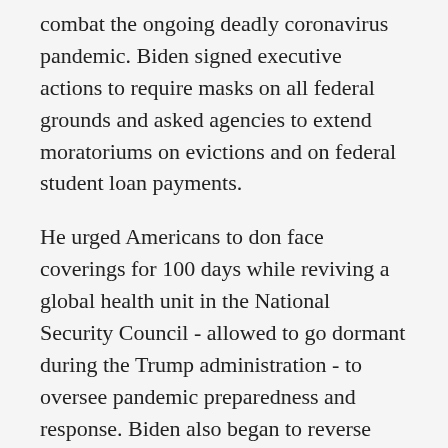combat the ongoing deadly coronavirus pandemic. Biden signed executive actions to require masks on all federal grounds and asked agencies to extend moratoriums on evictions and on federal student loan payments.
He urged Americans to don face coverings for 100 days while reviving a global health unit in the National Security Council - allowed to go dormant during the Trump administration - to oversee pandemic preparedness and response. Biden also began to reverse several steps taken by former president Donald Trump by embracing the World Health Organization, revoking the permit for the Keystone XL pipeline and rejoining the Paris climate agreement.
Biden, who enters the White House during a time of historic crisis, said Wednesday he wants to move